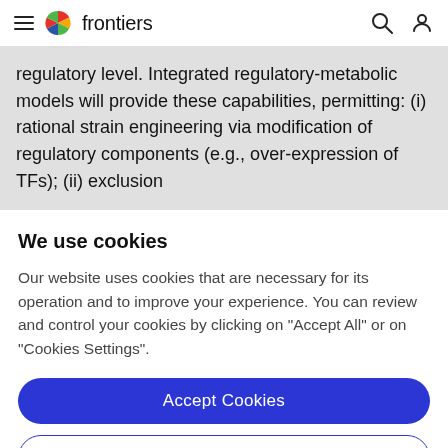frontiers
regulatory level. Integrated regulatory-metabolic models will provide these capabilities, permitting: (i) rational strain engineering via modification of regulatory components (e.g., over-expression of TFs); (ii) exclusion
We use cookies
Our website uses cookies that are necessary for its operation and to improve your experience. You can review and control your cookies by clicking on "Accept All" or on "Cookies Settings".
Accept Cookies
Cookies Settings